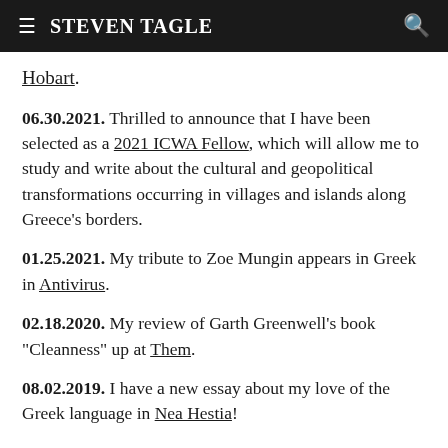STEVEN TAGLE
Hobart.
06.30.2021. Thrilled to announce that I have been selected as a 2021 ICWA Fellow, which will allow me to study and write about the cultural and geopolitical transformations occurring in villages and islands along Greece's borders.
01.25.2021. My tribute to Zoe Mungin appears in Greek in Antivirus.
02.18.2020. My review of Garth Greenwell's book "Cleanness" up at Them.
08.02.2019. I have a new essay about my love of the Greek language in Nea Hestia!